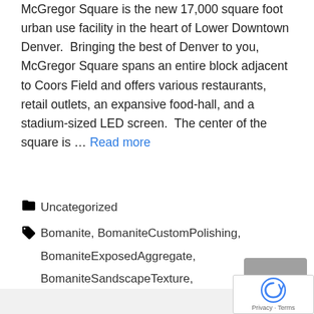McGregor Square is the new 17,000 square foot urban use facility in the heart of Lower Downtown Denver. Bringing the best of Denver to you, McGregor Square spans an entire block adjacent to Coors Field and offers various restaurants, retail outlets, an expansive food-hall, and a stadium-sized LED screen. The center of the square is … Read more
Uncategorized
Bomanite, BomaniteCustomPolishing, BomaniteExposedAggregate, BomaniteSandscapeTexture, BomaniteVitraFlor, DecorativeConcrete, TexturedConcrete